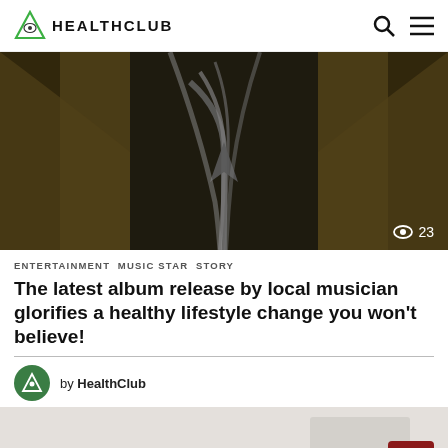HEALTHCLUB
[Figure (photo): Close-up of a person wearing chains/necklaces over a khaki jacket, dark moody lighting. View count overlay: 23]
ENTERTAINMENT  MUSIC STAR  STORY
The latest album release by local musician glorifies a healthy lifestyle change you won't believe!
by HealthClub
[Figure (photo): Partial bottom strip showing a light grey background with some items, and a dark red back-to-top button with an upward arrow]